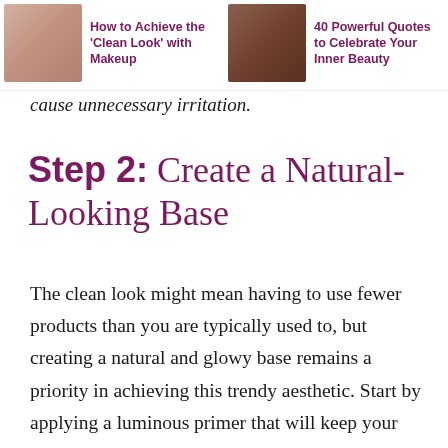How to Achieve the 'Clean Look' with Makeup | 40 Powerful Quotes to Celebrate Your Inner Beauty
cause unnecessary irritation.
Step 2: Create a Natural-Looking Base
The clean look might mean having to use fewer products than you are typically used to, but creating a natural and glowy base remains a priority in achieving this trendy aesthetic. Start by applying a luminous primer that will keep your skin looking more awake through the day. Then, apply just the right amount of concealer to